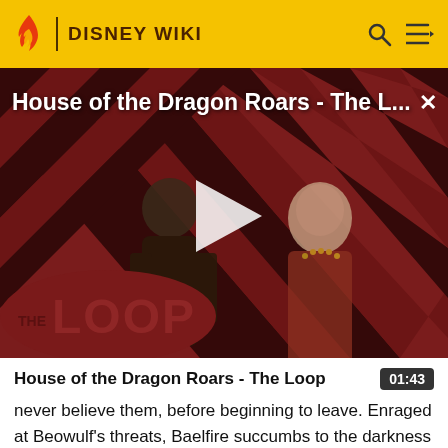DISNEY WIKI
[Figure (screenshot): Video thumbnail for 'House of the Dragon Roars - The Loop' showing two characters against a diagonal stripe background with a play button and The Loop logo overlay]
House of the Dragon Roars - The Loop
never believe them, before beginning to leave. Enraged at Beowulf's threats, Baelfire succumbs to the darkness and orders Rumplestiltskin to kill Beowulf, against his father's
01:43